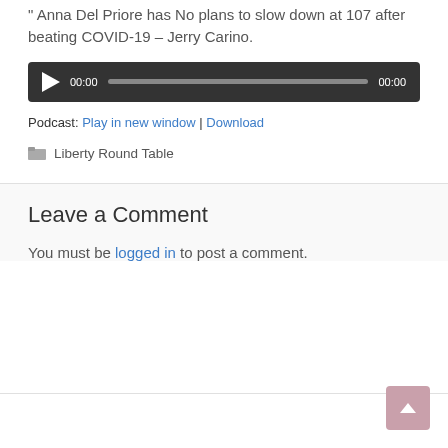" Anna Del Priore has No plans to slow down at 107 after beating COVID-19 – Jerry Carino.
[Figure (other): Audio player with play button, 00:00 timestamps, and a progress bar on a dark background]
Podcast: Play in new window | Download
Liberty Round Table
Leave a Comment
You must be logged in to post a comment.